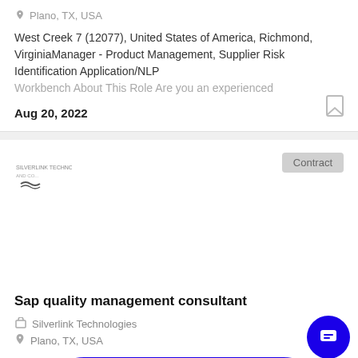Plano, TX, USA
West Creek 7 (12077), United States of America, Richmond, VirginiaManager - Product Management, Supplier Risk Identification Application/NLP Workbench About This Role Are you an experienced
Aug 20, 2022
[Figure (logo): Silverlink Technologies company logo]
Contract
Schedule a call with a career consultant
Sap quality management consultant
Silverlink Technologies
Plano, TX, USA